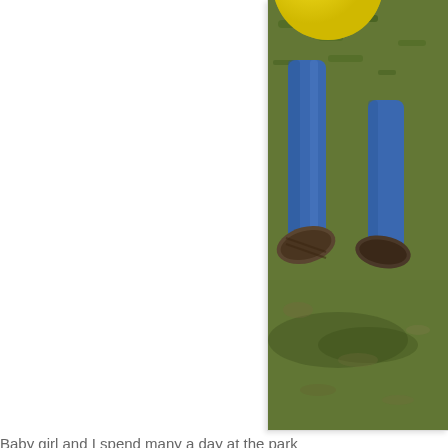[Figure (photo): Child running with a yellow ball on a grassy field, showing legs and shoe soles mid-stride with shadow on ground]
Baby girl and I spend many a day at the park
[Figure (photo): Close-up abstract photo showing colorful pink, orange, and purple flame or feather-like shapes on a dark striped background]